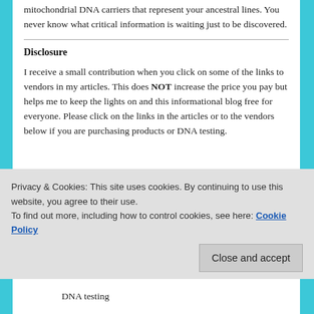mitochondrial DNA carriers that represent your ancestral lines. You never know what critical information is waiting just to be discovered.
Disclosure
I receive a small contribution when you click on some of the links to vendors in my articles. This does NOT increase the price you pay but helps me to keep the lights on and this informational blog free for everyone. Please click on the links in the articles or to the vendors below if you are purchasing products or DNA testing.
Privacy & Cookies: This site uses cookies. By continuing to use this website, you agree to their use.
To find out more, including how to control cookies, see here: Cookie Policy
Close and accept
DNA testing